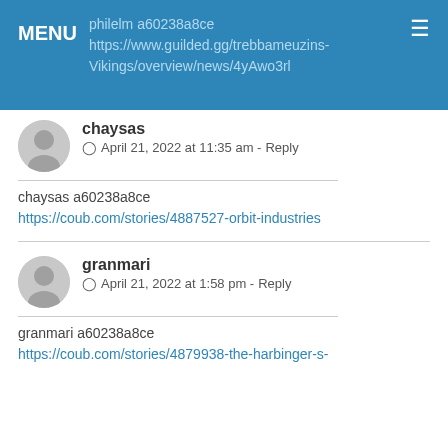MENU philelm a60238a8ce https://www.guilded.gg/trebbameuzins-Vikings/overview/news/4yAwo3rl
chaysas
April 21, 2022 at 11:35 am - Reply
chaysas a60238a8ce https://coub.com/stories/4887527-orbit-industries
granmari
April 21, 2022 at 1:58 pm - Reply
granmari a60238a8ce https://coub.com/stories/4879938-the-harbinger-s-